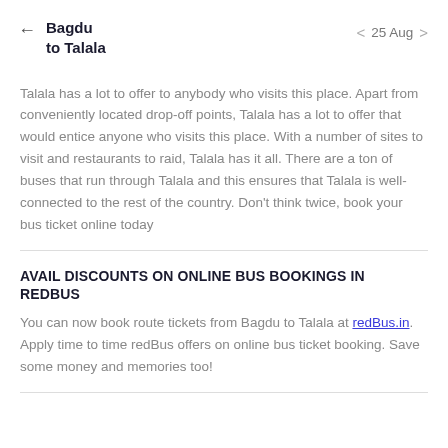← Bagdu to Talala   < 25 Aug >
Talala has a lot to offer to anybody who visits this place. Apart from conveniently located drop-off points, Talala has a lot to offer that would entice anyone who visits this place. With a number of sites to visit and restaurants to raid, Talala has it all. There are a ton of buses that run through Talala and this ensures that Talala is well-connected to the rest of the country. Don't think twice, book your bus ticket online today
AVAIL DISCOUNTS ON ONLINE BUS BOOKINGS IN REDBUS
You can now book route tickets from Bagdu to Talala at redBus.in. Apply time to time redBus offers on online bus ticket booking. Save some money and memories too!